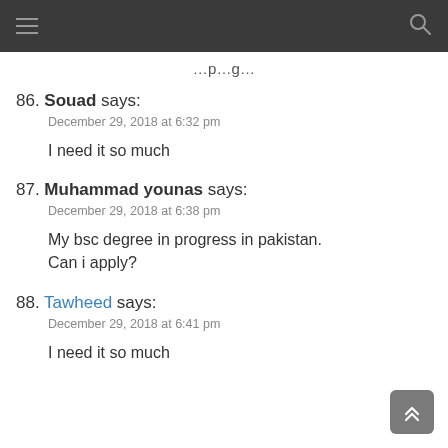86. Souad says:
December 29, 2018 at 6:32 pm
I need it so much
87. Muhammad younas says:
December 29, 2018 at 6:38 pm
My bsc degree in progress in pakistan. Can i apply?
88. Tawheed says:
December 29, 2018 at 6:41 pm
I need it so much